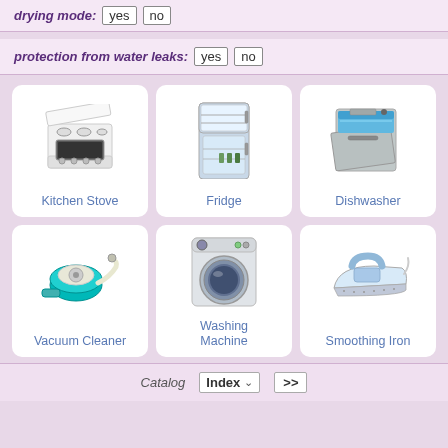drying mode: yes no
protection from water leaks: yes no
[Figure (illustration): Grid of 6 home appliances: Kitchen Stove, Fridge, Dishwasher, Vacuum Cleaner, Washing Machine, Smoothing Iron]
Catalog  Index  >>